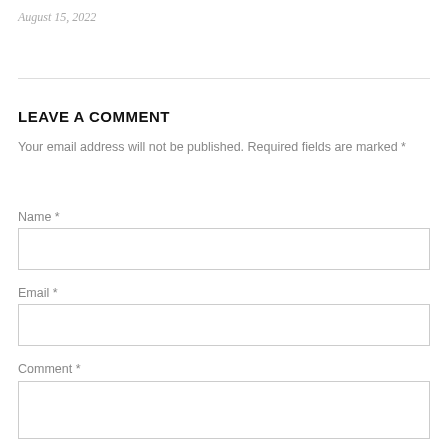August 15, 2022
LEAVE A COMMENT
Your email address will not be published. Required fields are marked *
Name *
Email *
Comment *